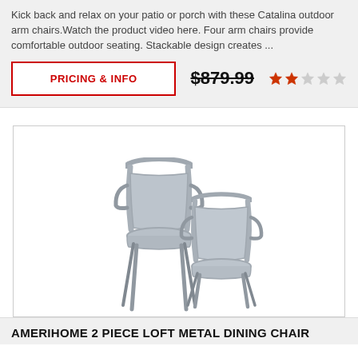Kick back and relax on your patio or porch with these Catalina outdoor arm chairs. Watch the product video here. Four arm chairs provide comfortable outdoor seating. Stackable design creates ...
PRICING & INFO
$879.99
[Figure (other): Two metallic silver/grey industrial-style metal dining chairs with curved backs and tapered legs, stacked/overlapping in product photo.]
AMERIHOME 2 PIECE LOFT METAL DINING CHAIR